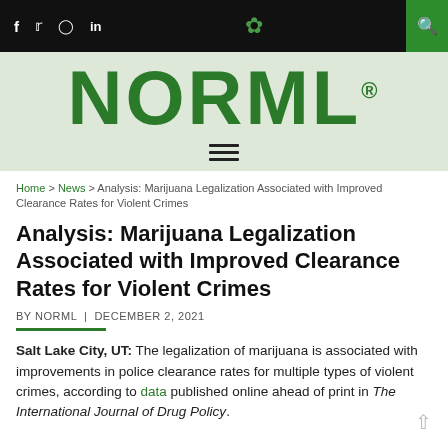NORML® — Navigation bar with social icons and search
[Figure (logo): NORML logo in bold green text on light green background with hamburger menu below]
Home > News > Analysis: Marijuana Legalization Associated with Improved Clearance Rates for Violent Crimes
Analysis: Marijuana Legalization Associated with Improved Clearance Rates for Violent Crimes
BY NORML | DECEMBER 2, 2021
Salt Lake City, UT: The legalization of marijuana is associated with improvements in police clearance rates for multiple types of violent crimes, according to data published online ahead of print in The International Journal of Drug Policy.